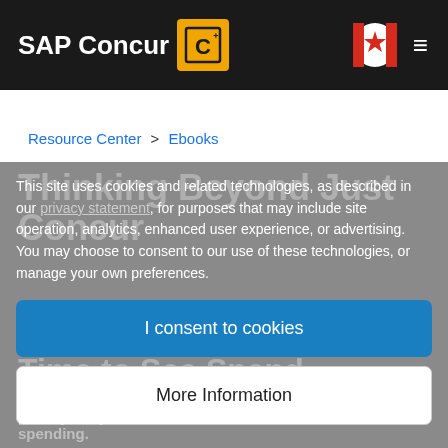SAP Concur [logo] [Canada flag] [menu]
Resource Center > Ebooks
This site uses cookies and related technologies, as described in our privacy statement, for purposes that may include site operation, analytics, enhanced user experience, or advertising. You may choose to consent to our use of these technologies, or manage your own preferences.
I consent to cookies
More Information
| Privacy Policy  There's never been a more critical time to see spending.